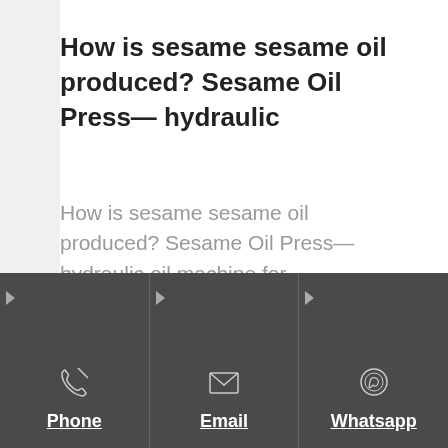How is sesame sesame oil produced? Sesame Oil Press— hydraulic
How is sesame sesame oil produced? Sesame Oil Press— hydraulic oil machine for sesame,hot oil press;Maggie VanWhatsApp/ WeChat/ Mobile: 0086-13603990684 Skyp
Phone | Email | Whatsapp